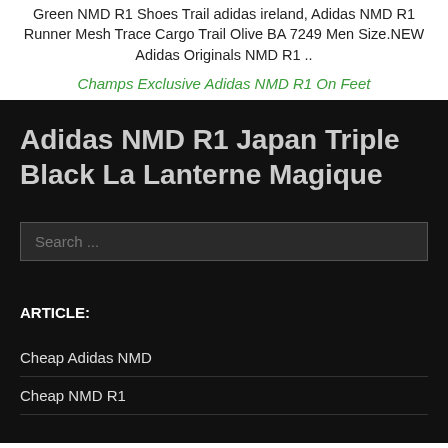Green NMD R1 Shoes Trail adidas ireland, Adidas NMD R1 Runner Mesh Trace Cargo Trail Olive BA 7249 Men Size.NEW Adidas Originals NMD R1 ..
Champs Exclusive Adidas NMD R1 On Feet
Adidas NMD R1 Japan Triple Black La Lanterne Magique
Search ...
ARTICLE:
Cheap Adidas NMD
Cheap NMD R1